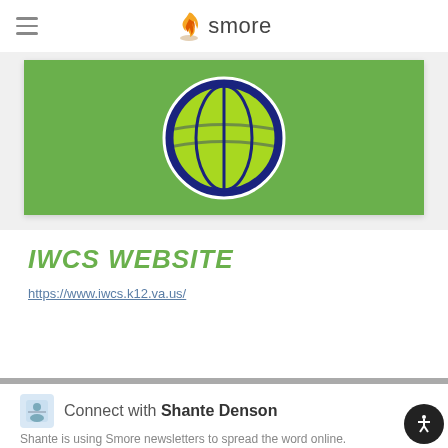smore
[Figure (illustration): Green background with IWCS circular logo (navy and lime green basketball-style emblem)]
IWCS WEBSITE
https://www.iwcs.k12.va.us/
Connect with Shante Denson
Shante is using Smore newsletters to spread the word online.
Follow Shante Denson
Contact Shante Denson